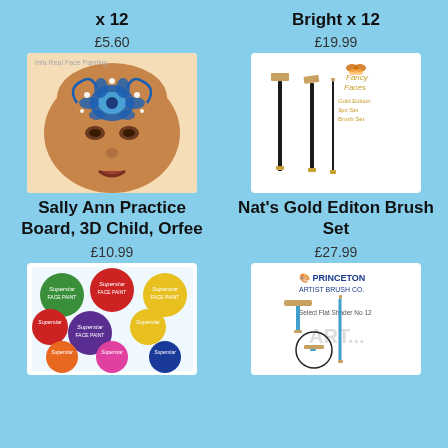x 12
Bright x 12
£5.60
£19.99
[Figure (photo): Child with face paint - floral design on forehead area, blue flowers]
[Figure (photo): Nat's Gold Edition 3pc Set Brush Set - three artist brushes displayed on white background with Fancy Faces logo]
Sally Ann Practice Board, 3D Child, Orfee
Nat's Gold Editon Brush Set
£10.99
£27.99
[Figure (photo): Superstar face paint palette with multiple colored circular pots - green, red, yellow, purple, orange, pink, blue]
[Figure (photo): Princeton Artist Brush Co. Select Flat Shader No 12 brushes on white background]